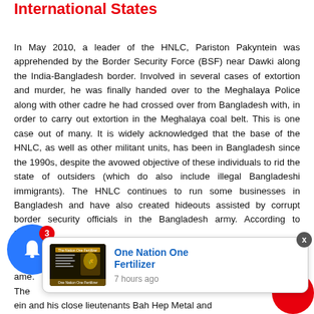International States
In May 2010, a leader of the HNLC, Pariston Pakyntein was apprehended by the Border Security Force (BSF) near Dawki along the India-Bangladesh border. Involved in several cases of extortion and murder, he was finally handed over to the Meghalaya Police along with other cadre he had crossed over from Bangladesh with, in order to carry out extortion in the Meghalaya coal belt. This is one case out of many. It is widely acknowledged that the base of the HNLC, as well as other militant units, has been in Bangladesh since the 1990s, despite the avowed objective of these individuals to rid the state of outsiders (which do also include illegal Bangladeshi immigrants). The HNLC continues to run some businesses in Bangladesh and have also created hideouts assisted by corrupt border security officials in the Bangladesh army. According to M... activities are bei... ame. The... ein and his close lieutenants Bah Hep Metal and are all well-entrenched within Bangladesh, hiding in the Khasi
[Figure (other): Advertisement card popup for 'One Nation One Fertilizer' showing a dark image of a fertilizer advertisement with text, and blue title text. Timestamp: 7 hours ago.]